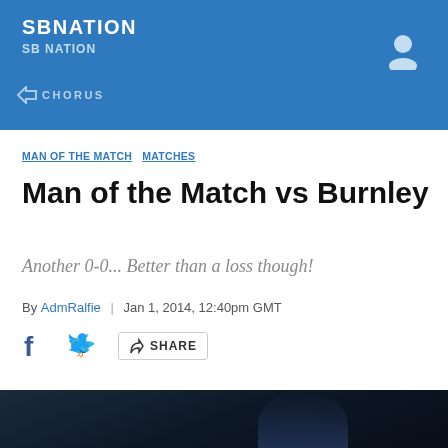SBNATION SB NATION
[Figure (logo): SB Nation logo in white on blue header bar with Chorus branding and user icon]
MAN OF THE MATCH  MATCHES
Man of the Match vs Burnley
Another 0-0... Better than a loss though!
By AdmRalfie | Jan 1, 2014, 12:40pm GMT
SHARE
[Figure (photo): A soccer/football player in a dark blue jersey photographed from below at a stadium, partially visible at bottom of page]